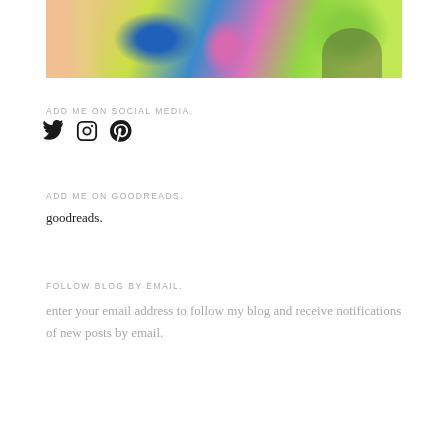[Figure (photo): Cropped photo showing a person wearing a bright yellow-green t-shirt with colorful blue, pink, and green design, arm visible on left side]
ADD ME ON SOCIAL MEDIA.
[Figure (infographic): Social media icons: Twitter bird, Instagram camera, Pinterest P]
ADD ME ON GOODREADS.
goodreads.
FOLLOW BLOG BY EMAIL.
enter your email address to follow my blog and receive notifications of new posts by email.